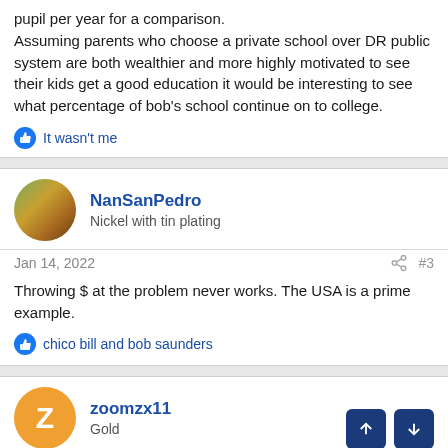pupil per year for a comparison.
Assuming parents who choose a private school over DR public system are both wealthier and more highly motivated to see their kids get a good education it would be interesting to see what percentage of bob's school continue on to college.
It wasn't me
NanSanPedro
Nickel with tin plating
Jan 14, 2022
#3
Throwing $ at the problem never works. The USA is a prime example.
chico bill and bob saunders
zoomzx11
Gold